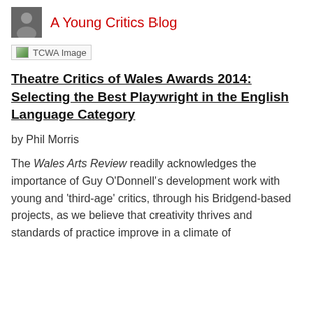A Young Critics Blog
[Figure (photo): TCWA Image placeholder with broken image icon]
Theatre Critics of Wales Awards 2014: Selecting the Best Playwright in the English Language Category
by Phil Morris
The Wales Arts Review readily acknowledges the importance of Guy O'Donnell's development work with young and 'third-age' critics, through his Bridgend-based projects, as we believe that creativity thrives and standards of practice improve in a climate of